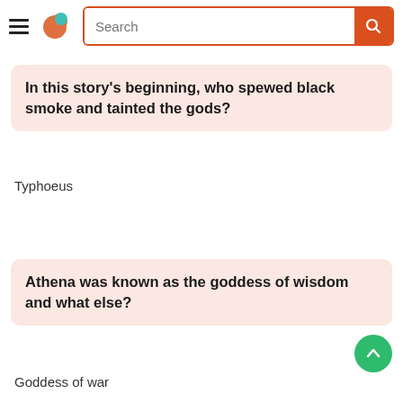[Figure (screenshot): App navigation bar with hamburger menu, orange-green logo icon, and search box with orange border and orange search button]
In this story's beginning, who spewed black smoke and tainted the gods?
Typhoeus
Athena was known as the goddess of wisdom and what else?
Goddess of war